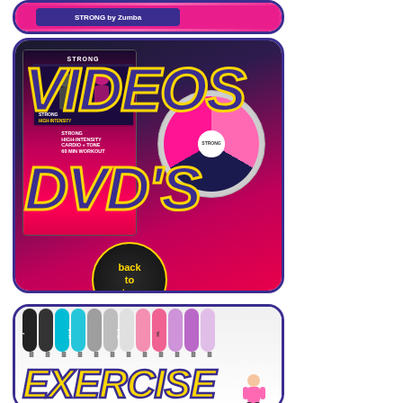[Figure (photo): Partially visible top card with pink/magenta background showing a fitness product]
[Figure (photo): Card showing fitness DVDs with large text 'VIDEOS' and 'DVD'S' overlaid in dark blue with yellow outline, featuring STRONG by Zumba High-Intensity Cardio + Tone DVD set and disc]
[Figure (illustration): Black circular 'back to top' button with gold text]
[Figure (photo): Card showing exercise resistance bands in multiple colors (black, teal, gray, pink, lavender) with large 'EXERCISE' text in yellow with blue outline]